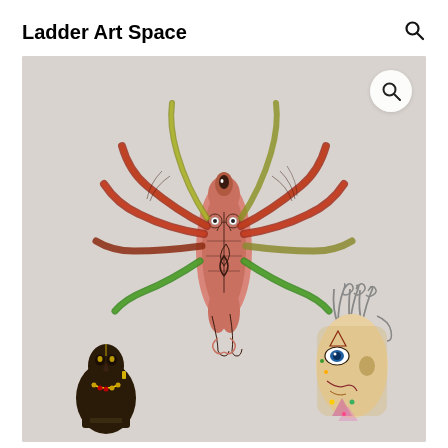Ladder Art Space
[Figure (photo): Photo of three handcrafted art figurines against a light gray background. Center: a large colorful winged female figure with intricate red, pink, green and orange painted patterns and multiple spread wings. Bottom left: a small dark carved bust figure with decorative gold and red patterns. Bottom right: a painted face/mask figure with wire crown elements, featuring detailed eye and geometric designs in blue, green and pink tones.]